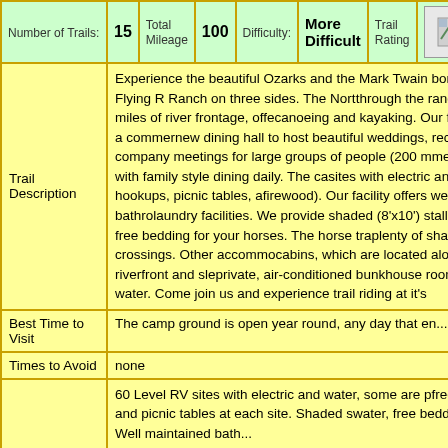| Number of Trails | 15 | Total Mileage | 100 | Difficulty: | More Difficult | Trail Rating | [image] | Camp Rati... |
| --- | --- | --- | --- | --- | --- | --- | --- | --- |
| Trail Description | Experience the beautiful Ozarks and the Mark Twain...borders the Flying R Ranch on three sides... |
| Best Time to Visit | The camp ground is open year round, any day that en... |
| Times to Avoid | none |
|  | 60 Level RV sites with electric and water, some are p...free firewood, and picnic tables at each site. Shaded s...water, free bedding available. Well maintained bath... |